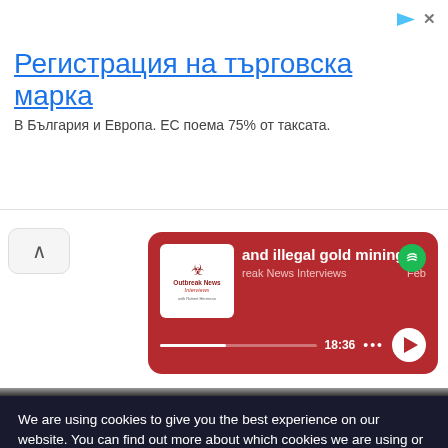[Figure (screenshot): Advertisement banner with Bulgarian text 'Регистрация на търговска марка' (trademark registration) and subtitle 'В България и Европа. ЕС поема 75% от таксата.']
[Figure (screenshot): Spotify podcast player card showing 'and illegal gold mining' episode from Outbreak News Interviews, Feb, time 18:36, with play button and progress bar on dark red background.]
We are using cookies to give you the best experience on our website. You can find out more about which cookies we are using or switch them off in settings.
Accept